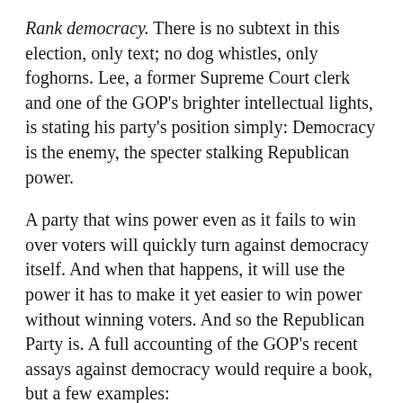Rank democracy. There is no subtext in this election, only text; no dog whistles, only foghorns. Lee, a former Supreme Court clerk and one of the GOP's brighter intellectual lights, is stating his party's position simply: Democracy is the enemy, the specter stalking Republican power.
A party that wins power even as it fails to win over voters will quickly turn against democracy itself. And when that happens, it will use the power it has to make it yet easier to win power without winning voters. And so the Republican Party is. A full accounting of the GOP's recent assays against democracy would require a book, but a few examples:
In North Carolina in 2016 and Michigan and Wisconsin, incoming Republican legislatures stripped power from incoming Democratic governors.